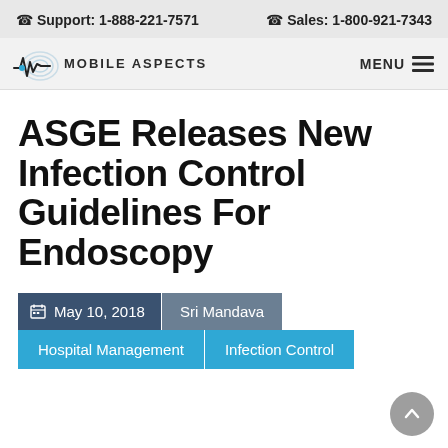Support: 1-888-221-7571   Sales: 1-800-921-7343
[Figure (logo): Mobile Aspects logo with stylized M waveform and circular signal graphic]
ASGE Releases New Infection Control Guidelines For Endoscopy
May 10, 2018  Sri Mandava
Hospital Management  |  Infection Control